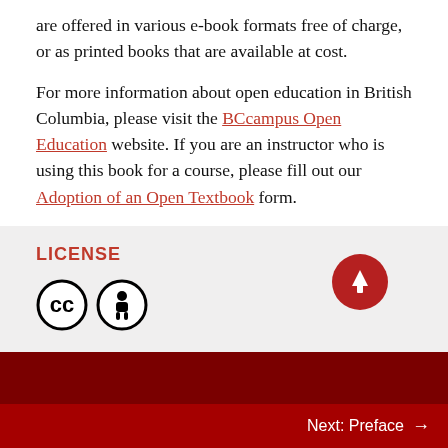are offered in various e-book formats free of charge, or as printed books that are available at cost.
For more information about open education in British Columbia, please visit the BCcampus Open Education website. If you are an instructor who is using this book for a course, please fill out our Adoption of an Open Textbook form.
LICENSE
[Figure (illustration): Creative Commons CC and BY license icons (two circular icons), and a red circular scroll-to-top button with an upward arrow.]
Next: Preface →